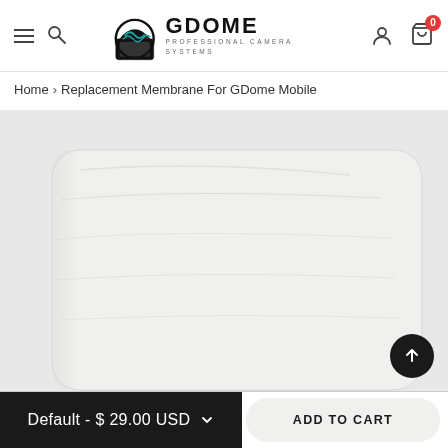[Figure (logo): GDome Professional Camera Systems logo with circular dome icon]
Home › Replacement Membrane For GDome Mobile
[Figure (photo): White replacement membrane/bag product photo on light gray background]
Default - $ 29.00 USD
ADD TO CART